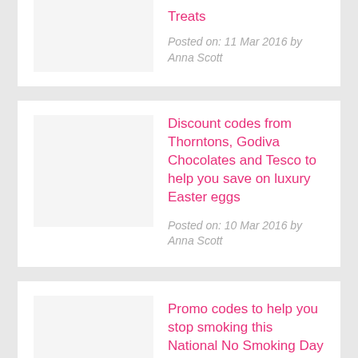Treats
Posted on: 11 Mar 2016 by Anna Scott
Discount codes from Thorntons, Godiva Chocolates and Tesco to help you save on luxury Easter eggs
Posted on: 10 Mar 2016 by Anna Scott
Promo codes to help you stop smoking this National No Smoking Day